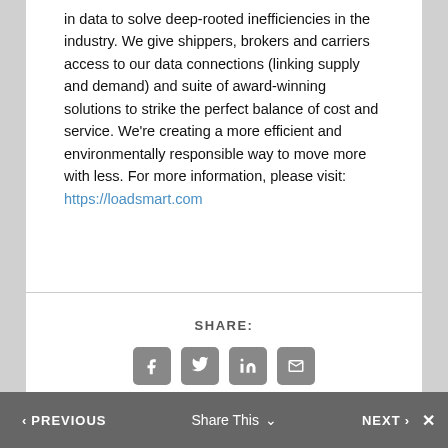in data to solve deep-rooted inefficiencies in the industry. We give shippers, brokers and carriers access to our data connections (linking supply and demand) and suite of award-winning solutions to strike the perfect balance of cost and service. We're creating a more efficient and environmentally responsible way to move more with less. For more information, please visit: https://loadsmart.com
[Figure (infographic): SHARE: section with four social share icon buttons — Facebook, Twitter, LinkedIn, and Email]
< PREVIOUS    Share This ˅    NEXT >  ✕